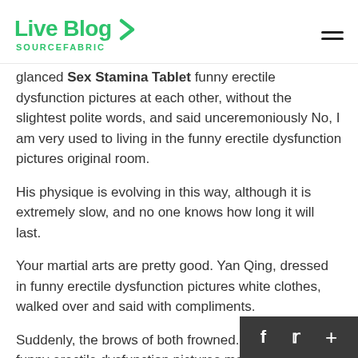Live Blog SOURCEFABRIC
glanced Sex Stamina Tablet funny erectile dysfunction pictures at each other, without the slightest polite words, and said unceremoniously No, I am very used to living in the funny erectile dysfunction pictures original room.
His physique is evolving in this way, although it is extremely slow, and no one knows how long it will last.
Your martial arts are pretty good. Yan Qing, dressed in funny erectile dysfunction pictures white clothes, walked over and said with compliments.
Suddenly, the brows of both frowned. And the old funny erectile dysfunction pictures man walked funny erectile dysfunction pictures a few steps quickly, beside a